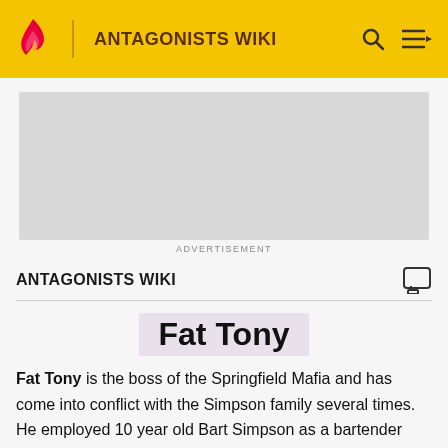ANTAGONISTS WIKI
[Figure (other): Advertisement placeholder — grey rectangle]
ADVERTISEMENT
ANTAGONISTS WIKI
Fat Tony
Fat Tony is the boss of the Springfield Mafia and has come into conflict with the Simpson family several times. He employed 10 year old Bart Simpson as a bartender and confronted Bart's principal Seymour Skinner after